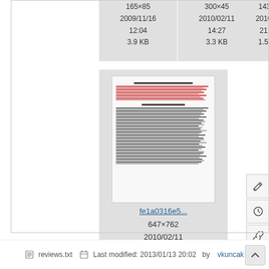[Figure (screenshot): Thumbnail card showing image metadata: 165×85, 2009/11/16 12:04, 3.9 KB]
[Figure (screenshot): Thumbnail card showing image metadata: 300×45, 2010/02/11 14:27, 3.3 KB]
[Figure (screenshot): Thumbnail card showing partial image metadata: 143×…, 2010/0…, 21:2…, 1.5 K…]
[Figure (screenshot): Large thumbnail of a document page (fe1a0316e5...) with red and dark text lines]
fe1a0316e5...
647×762
2010/02/11
14:50
89.8 KB
reviews.txt   Last modified: 2013/01/13 20:02  by  vkuncak